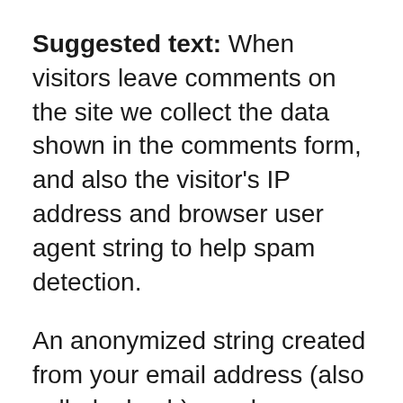Suggested text: When visitors leave comments on the site we collect the data shown in the comments form, and also the visitor's IP address and browser user agent string to help spam detection.
An anonymized string created from your email address (also called a hash) may be provided to the Gravatar service to see if you are using it. The Gravatar service privacy policy is available here: https://automattic.com/privacy/. After approval of your comment, your profile picture is visible to the public in the context of your comment.
Media